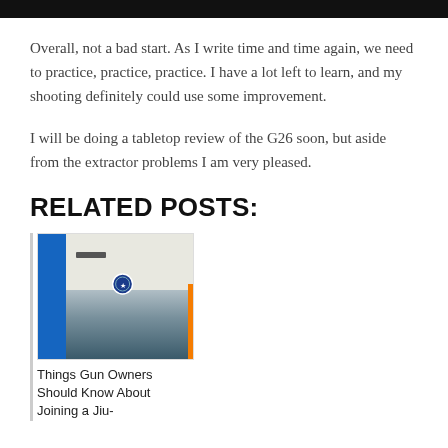[Figure (photo): Black top bar / header image strip at the very top of the page]
Overall, not a bad start. As I write time and time again, we need to practice, practice, practice. I have a lot left to learn, and my shooting definitely could use some improvement.
I will be doing a tabletop review of the G26 soon, but aside from the extractor problems I am very pleased.
RELATED POSTS:
[Figure (photo): Photo of a martial arts gym / dojo interior with blue mats on the floor, white walls, a blue circular logo/badge on the wall, and gym equipment visible]
Things Gun Owners Should Know About Joining a Jiu-